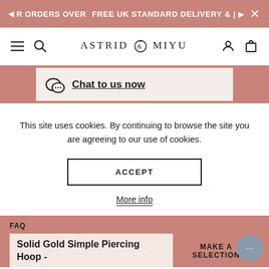R ORDERS OVER   FREE UK STANDARD DELIVERY & |   ×
[Figure (logo): Astrid & Miyu logo with hamburger, search, user and cart icons in navigation bar]
Chat to us now
This site uses cookies. By continuing to browse the site you are agreeing to our use of cookies.
ACCEPT
More info
FAQ
Solid Gold Simple Piercing Hoop -
MAKE A SELECTION